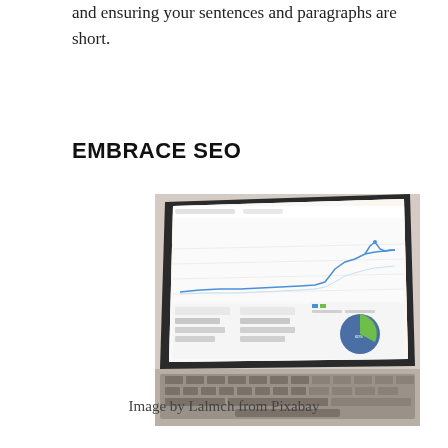and ensuring your sentences and paragraphs are short.
EMBRACE SEO
[Figure (photo): A laptop computer displaying a Google Analytics dashboard with a line chart trending upward and a pie chart, photographed at an angle on a desk.]
Image by Lalmch from Pixabay